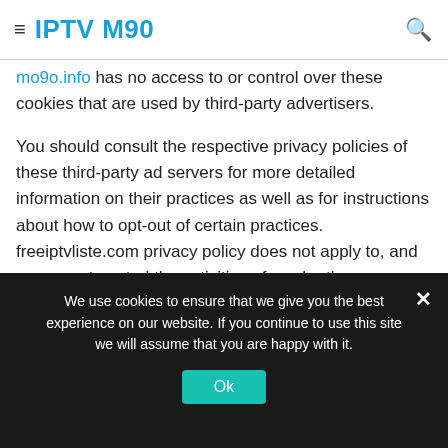≡  IPTV M90  🔍
their advertisements and/or to personalize the advertising
mo9o.info has no access to or control over these cookies that are used by third-party advertisers.
You should consult the respective privacy policies of these third-party ad servers for more detailed information on their practices as well as for instructions about how to opt-out of certain practices. freeiptvliste.com privacy policy does not apply to, and we cannot control the activities of, such other advertisers or web sites.
We use cookies to ensure that we give you the best experience on our website. If you continue to use this site we will assume that you are happy with it.